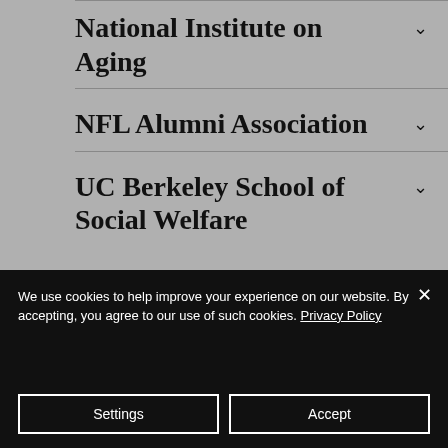National Institute on Aging
NFL Alumni Association
UC Berkeley School of Social Welfare
We use cookies to help improve your experience on our website. By accepting, you agree to our use of such cookies. Privacy Policy
Settings
Accept